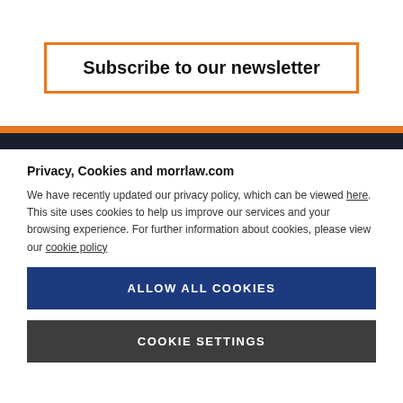Subscribe to our newsletter
Privacy, Cookies and morrlaw.com
We have recently updated our privacy policy, which can be viewed here. This site uses cookies to help us improve our services and your browsing experience. For further information about cookies, please view our cookie policy
ALLOW ALL COOKIES
COOKIE SETTINGS